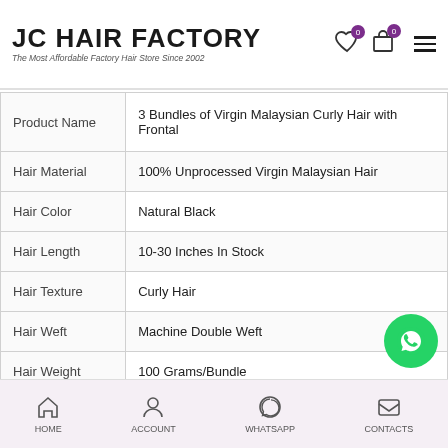JC HAIR FACTORY – The Most Affordable Factory Hair Store Since 2002
|  |  |
| --- | --- |
| Product Name | 3 Bundles of Virgin Malaysian Curly Hair with Frontal |
| Hair Material | 100% Unprocessed Virgin Malaysian Hair |
| Hair Color | Natural Black |
| Hair Length | 10-30 Inches In Stock |
| Hair Texture | Curly Hair |
| Hair Weft | Machine Double Weft |
| Hair Weight | 100 Grams/Bundle |
| Hair Quality | Intact Cuticles, No Shedding, Tangling Free |
HOME  ACCOUNT  WHATSAPP  CONTACTS